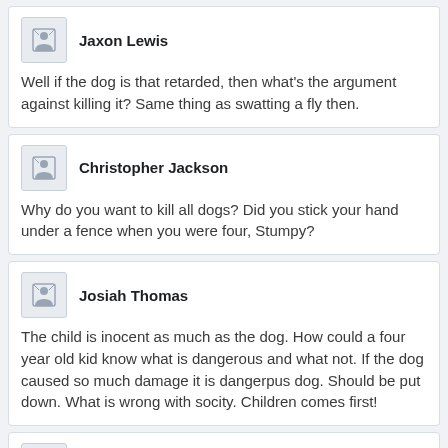Jaxon Lewis
Well if the dog is that retarded, then what's the argument against killing it? Same thing as swatting a fly then.
Christopher Jackson
Why do you want to kill all dogs? Did you stick your hand under a fence when you were four, Stumpy?
Josiah Thomas
The child is inocent as much as the dog. How could a four year old kid know what is dangerous and what not. If the dog caused so much damage it is dangerpus dog. Should be put down. What is wrong with socity. Children comes first!
Dylan Sullivan